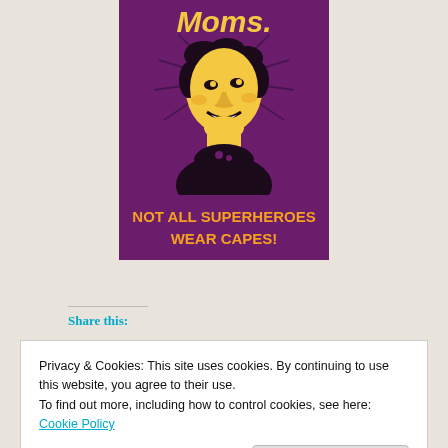[Figure (illustration): Vintage-style retro poster with purple background featuring a yellow-illustrated woman looking upward with rays behind her head. Text at top reads 'Moms.' and at bottom reads 'NOT ALL SUPERHEROES WEAR CAPES!' in yellow/orange lettering.]
Share this:
Privacy & Cookies: This site uses cookies. By continuing to use this website, you agree to their use.
To find out more, including how to control cookies, see here: Cookie Policy